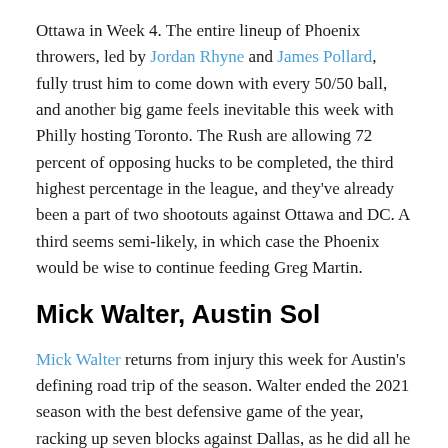Ottawa in Week 4. The entire lineup of Phoenix throwers, led by Jordan Rhyne and James Pollard, fully trust him to come down with every 50/50 ball, and another big game feels inevitable this week with Philly hosting Toronto. The Rush are allowing 72 percent of opposing hucks to be completed, the third highest percentage in the league, and they've already been a part of two shootouts against Ottawa and DC. A third seems semi-likely, in which case the Phoenix would be wise to continue feeding Greg Martin.
Mick Walter, Austin Sol
Mick Walter returns from injury this week for Austin's defining road trip of the season. Walter ended the 2021 season with the best defensive game of the year, racking up seven blocks against Dallas, as he did all he could to try and will Austin into the playoffs.
Standing at 6'6", Walter is an imposing presence in the